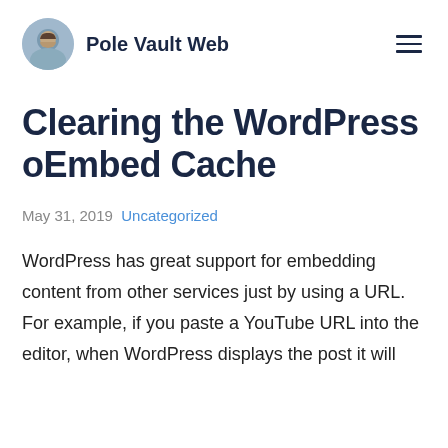Pole Vault Web
Clearing the WordPress oEmbed Cache
May 31, 2019  Uncategorized
WordPress has great support for embedding content from other services just by using a URL. For example, if you paste a YouTube URL into the editor, when WordPress displays the post it will